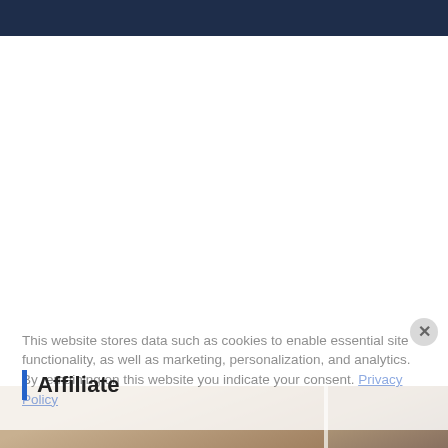This website stores data such as cookies to enable essential site functionality, as well as marketing, personalization, and analytics. By remaining on this website you indicate your consent. Privacy Policy
Affiliate
[Figure (photo): Bottom strip showing partial photos of people]